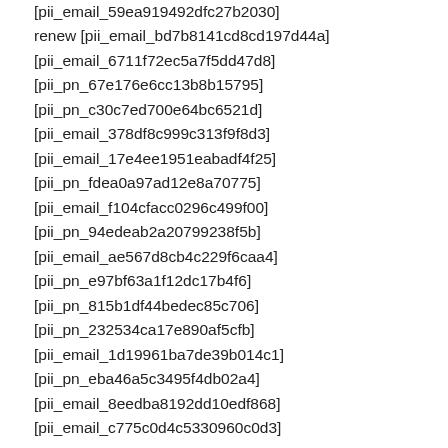[pii_email_59ea919492dfc27b2030]
renew [pii_email_bd7b8141cd8cd197d44a]
[pii_email_6711f72ec5a7f5dd47d8]
[pii_pn_67e176e6cc13b8b15795]
[pii_pn_c30c7ed700e64bc6521d]
[pii_email_378df8c999c313f9f8d3]
[pii_email_17e4ee1951eabadf4f25]
[pii_pn_fdea0a97ad12e8a70775]
[pii_email_f104cfacc0296c499f00]
[pii_pn_94edeab2a20799238f5b]
[pii_email_ae567d8cb4c229f6caa4]
[pii_pn_e97bf63a1f12dc17b4f6]
[pii_pn_815b1df44bedec85c706]
[pii_pn_232534ca17e890af5cfb]
[pii_email_1d19961ba7de39b014c1]
[pii_pn_eba46a5c3495f4db02a4]
[pii_email_8eedba8192dd10edf868]
[pii_email_c775c0d4c5330960c0d3]